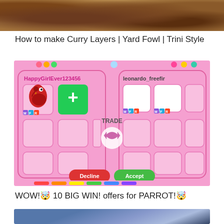[Figure (photo): Top portion of a bowl of curry with chunky brown ingredients, cropped at top of page]
How to make Curry Layers | Yard Fowl | Trini Style
[Figure (screenshot): Screenshot of Adopt Me game trade interface showing HappyGirlEver123456 offering a parrot (MFR) trading with leonardo_freefir who offers two MFR pets. Shows TRADE label in center, Decline and Accept buttons at bottom.]
WOW!🤯 10 BIG WIN! offers for PARROT!🤯
[Figure (photo): Dark screenshot showing a person with light effects, partially visible at bottom of page]